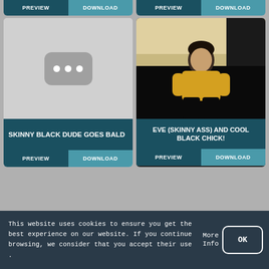[Figure (screenshot): Top row partial cards with PREVIEW and DOWNLOAD buttons visible]
[Figure (photo): Placeholder thumbnail with YouTube-style icon (gray rounded rectangle with three white dots)]
SKINNY BLACK DUDE GOES BALD
PREVIEW
DOWNLOAD
[Figure (photo): Photo of a woman in a yellow top sitting on a dark surface in a room]
EVE (SKINNY ASS) AND COOL BLACK CHICK!
PREVIEW
DOWNLOAD
This website uses cookies to ensure you get the best experience on our website. If you continue browsing, we consider that you accept their use .
More Info
OK